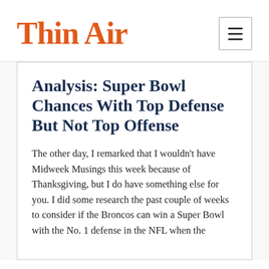Thin Air
Analysis: Super Bowl Chances With Top Defense But Not Top Offense
The other day, I remarked that I wouldn't have Midweek Musings this week because of Thanksgiving, but I do have something else for you. I did some research the past couple of weeks to consider if the Broncos can win a Super Bowl with the No. 1 defense in the NFL when the